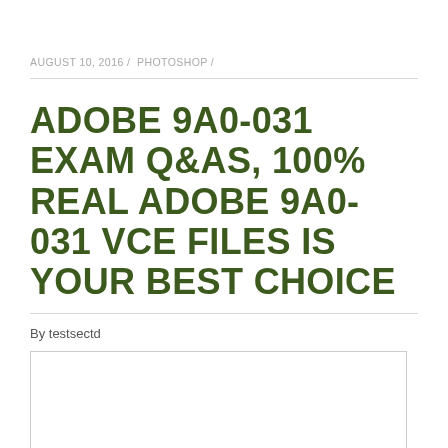AUGUST 10, 2016 / PHOTOSHOP /
ADOBE 9A0-031 EXAM Q&AS, 100% REAL ADOBE 9A0-031 VCE FILES IS YOUR BEST CHOICE
By testsectd
[Figure (other): Empty white box with border, likely placeholder for an image]